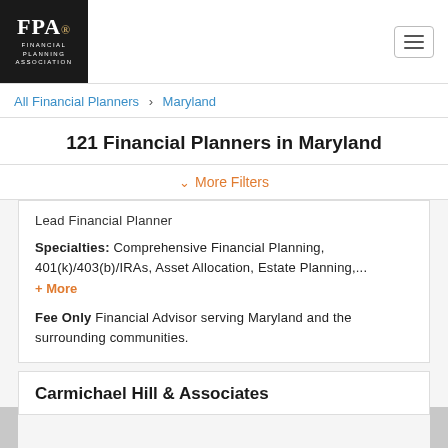FPA Financial Planning Association
All Financial Planners > Maryland
121 Financial Planners in Maryland
More Filters
Lead Financial Planner
Specialties: Comprehensive Financial Planning, 401(k)/403(b)/IRAs, Asset Allocation, Estate Planning,... + More
Fee Only Financial Advisor serving Maryland and the surrounding communities.
Carmichael Hill & Associates